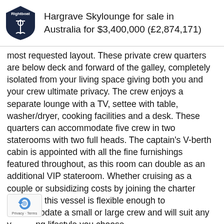Hargrave Skylounge for sale in Australia for $3,400,000 (£2,874,171)
most requested layout. These private crew quarters are below deck and forward of the galley, completely isolated from your living space giving both you and your crew ultimate privacy. The crew enjoys a separate lounge with a TV, settee with table, washer/dryer, cooking facilities and a desk. These quarters can accommodate five crew in two staterooms with two full heads. The captain's V-berth cabin is appointed with all the fine furnishings featured throughout, as this room can double as an additional VIP stateroom. Whether cruising as a couple or subsidizing costs by joining the charter program, this vessel is flexible enough to accommodate a small or large crew and will suit any yachting lifestyle you choose.